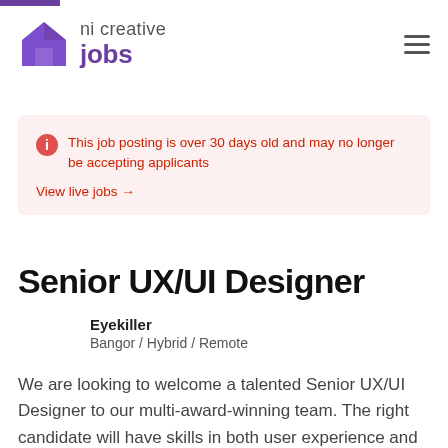[Figure (logo): ni creative jobs logo with purple house/arrow icon and purple 'jobs' text]
This job posting is over 30 days old and may no longer be accepting applicants
View live jobs →
Senior UX/UI Designer
Eyekiller
Bangor / Hybrid / Remote
We are looking to welcome a talented Senior UX/UI Designer to our multi-award-winning team. The right candidate will have skills in both user experience and